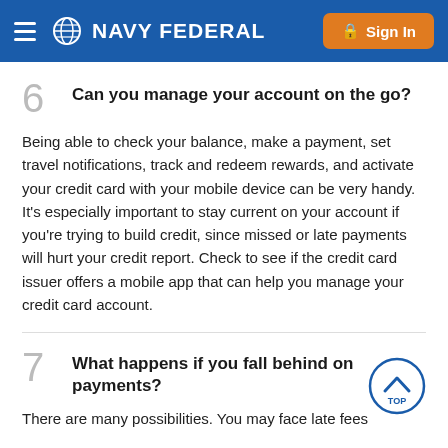NAVY FEDERAL — Sign In
6 Can you manage your account on the go?
Being able to check your balance, make a payment, set travel notifications, track and redeem rewards, and activate your credit card with your mobile device can be very handy. It's especially important to stay current on your account if you're trying to build credit, since missed or late payments will hurt your credit report. Check to see if the credit card issuer offers a mobile app that can help you manage your credit card account.
7 What happens if you fall behind on payments?
There are many possibilities. You may face late fees